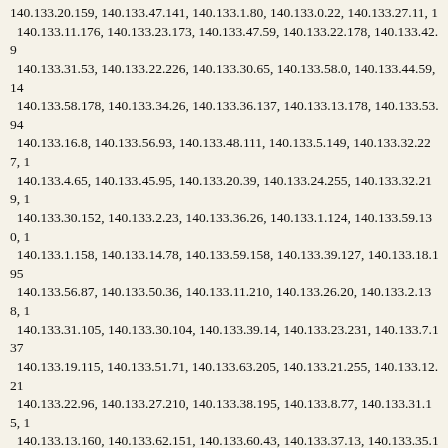140.133.20.159, 140.133.47.141, 140.133.1.80, 140.133.0.22, 140.133.27.11, 140.133.11.176, 140.133.23.173, 140.133.47.59, 140.133.22.178, 140.133.42.9, 140.133.31.53, 140.133.22.226, 140.133.30.65, 140.133.58.0, 140.133.44.59, 140.133.58.178, 140.133.34.26, 140.133.36.137, 140.133.13.178, 140.133.53.94, 140.133.16.8, 140.133.56.93, 140.133.48.111, 140.133.5.149, 140.133.32.227, 140.133.4.65, 140.133.45.95, 140.133.20.39, 140.133.24.255, 140.133.32.219, 140.133.30.152, 140.133.2.23, 140.133.36.26, 140.133.1.124, 140.133.59.130, 140.133.1.158, 140.133.14.78, 140.133.59.158, 140.133.39.127, 140.133.18.195, 140.133.56.87, 140.133.50.36, 140.133.11.210, 140.133.26.20, 140.133.2.138, 140.133.31.105, 140.133.30.104, 140.133.39.14, 140.133.23.231, 140.133.7.137, 140.133.19.115, 140.133.51.71, 140.133.63.205, 140.133.21.255, 140.133.12.21, 140.133.22.96, 140.133.27.210, 140.133.38.195, 140.133.8.77, 140.133.31.15, 140.133.13.160, 140.133.62.151, 140.133.60.43, 140.133.37.13, 140.133.35.150, 140.133.56.203, 140.133.28.135, 140.133.40.67, 140.133.44.135, 140.133.13.20, 140.133.17.204, 140.133.49.217, 140.133.1.37, 140.133.11.21, 140.133.57.205, 140.133.22.79, 140.133.22.161, 140.133.9.171, 140.133.51.58, 140.133.20.193, 140.133.23.138, 140.133.22.123, 140.133.7.83, 140.133.1.213, 140.133.2.9, 140.133.60.140, 140.133.11.146, 140.133.59.106, 140.133.44.103, 140.133.61.2, 140.133.56.163, 140.133.8.109, 140.133.12.103, 140.133.3.40, 140.133.60.118, 140.133.49.142, 140.133.23.88, 140.133.9.2, 140.133.50.164, 140.133.31.154, 140.133.59.211, 140.133.1.109, 140.133.17.121, 140.133.46.198, 140.133.62.10, 140.133.46.229, 140.133.34.251, 140.133.56.213, 140.133.20.112, 140.133.37.2, 140.133.11.19, 140.133.43.219, 140.133.40.230, 140.133.21.58, 140.133.58.32, 140.133.6.109, 140.133.62.86, 140.133.21.2, 140.133.31.170, 140.133.21.74, 140.133.36.76, 140.133.17.169, 140.133.24.52, 140.133.2.81, 140.133.15.135, 140.133.45.233, 140.133.36.128, 140.133.26.59, 140.133.30.196, 140.133.49.22, 140.133.8.46, 140.133.44.254, 140.133.45.45, 140.133.2.253, 140.133.60.122, 140.133.0.83, 140.133.34.147, 140.133.18.22, 140.133.51.109, 140.133.45.216, 140.133.55.116, 140.133.37.104, 140.133.15.128, 140.133.35.114, 140.133.5.13, 140.133.61.154, 140.133.14.22, 140.133.27.134, 140.133.59.185, 140.133.4.13, 140.133.63.180, 140.133.27.53, 140.133.25.246, 140.133.17.240, 140.133.34.17, 140.133.57.55, 140.133.55.220, 140.133.57.47, 140.133.61.17, 140.133.62.229, 140.133.40.63, 140.133.22.70, 140.133.5.4, 140.133.22.114, 140.133.7.168, 14